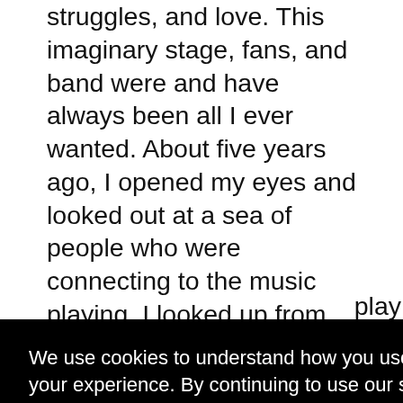struggles, and love. This imaginary stage, fans, and band were and have always been all I ever wanted. About five years ago, I opened my eyes and looked out at a sea of people who were connecting to the music playing. I looked up from my guitar and saw a stage full of my best friends, who are the most incredible musicians I know. I was living my dream. I
We use cookies to understand how you use our site and to improve your experience. By continuing to use our site, you accept our use of cookies, Privacy Policy, Terms & Conditions
Got it!
played punk rock in church. We had rehearsal at